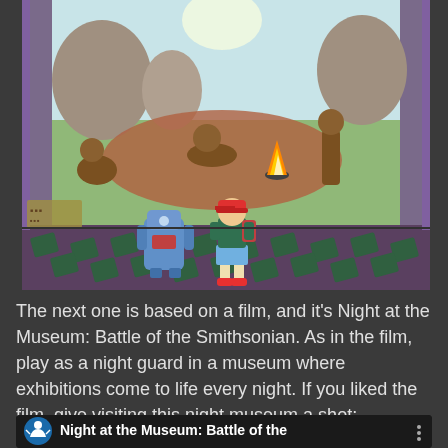[Figure (screenshot): Screenshot of a video game showing a prehistoric museum exhibit scene: cavemen/early humans around a fire in a rocky landscape background, with a boy character in green shirt, blue shorts and red backpack, and a blue robot character standing on a purple and green checkered museum floor in the foreground.]
The next one is based on a film, and it's Night at the Museum: Battle of the Smithsonian. As in the film, play as a night guard in a museum where exhibitions come to life every night. If you liked the film, give visiting this night museum a shot:
[Figure (screenshot): Video thumbnail showing a dark image with the Smithsonian logo (person with arms raised in blue) on the left and text 'Night at the Museum: Battle of the' and a three-dot menu icon on the right.]